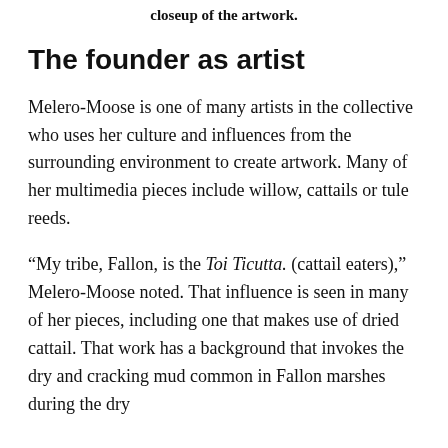closeup of the artwork.
The founder as artist
Melero-Moose is one of many artists in the collective who uses her culture and influences from the surrounding environment to create artwork. Many of her multimedia pieces include willow, cattails or tule reeds.
“My tribe, Fallon, is the Toi Ticutta. (cattail eaters),” Melero-Moose noted. That influence is seen in many of her pieces, including one that makes use of dried cattail. That work has a background that invokes the dry and cracking mud common in Fallon marshes during the dry